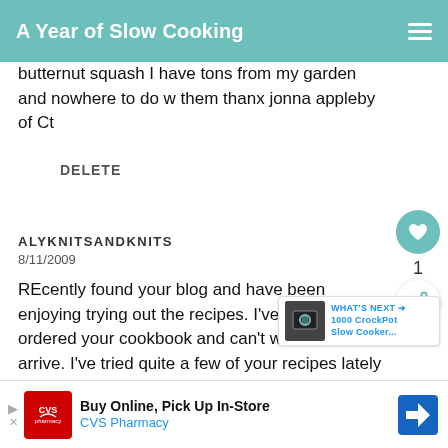A Year of Slow Cooking
butternut squash I have tons from my garden and nowhere to do w them thanx jonna appleby of Ct
DELETE
ALYKNITSANDKNITS
8/11/2009
REcently found your blog and have been enjoying trying out the recipes. I've already ordered your cookbook and can't wait for it to arrive. I've tried quite a few of your recipes lately and have had nothing but success! Last night we tried the so... thod to
[Figure (screenshot): What's Next overlay with thumbnail showing '1000 CrockPot Slow Cooker...' promotion]
[Figure (screenshot): CVS Pharmacy ad banner: Buy Online, Pick Up In-Store with CVS logo and navigation arrow icon]